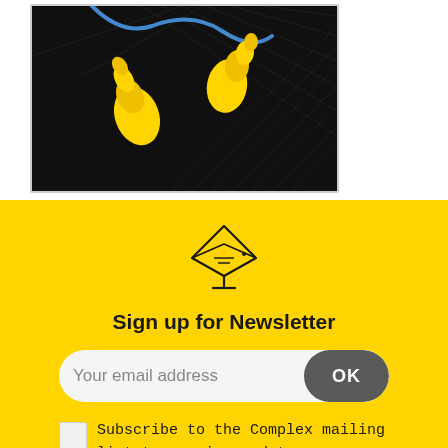[Figure (photo): Yellow ear plugs on a dark background with grid mesh pattern, product photo]
[Figure (illustration): Envelope/newsletter icon — diamond shaped envelope outline with horizontal lines and a downward arrow, black on yellow background]
Sign up for Newsletter
Your email address
OK
Subscribe to the Complex mailing list to receive updates on new arrivals, special offers and other discount information.